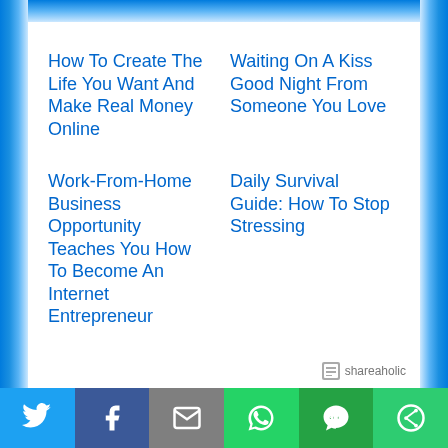How To Create The Life You Want And Make Real Money Online
Waiting On A Kiss Good Night From Someone You Love
Work-From-Home Business Opportunity Teaches You How To Become An Internet Entrepreneur
Daily Survival Guide: How To Stop Stressing
shareaholic
[Figure (infographic): Social sharing bar with icons for Twitter, Facebook, Email, WhatsApp, SMS, and More]